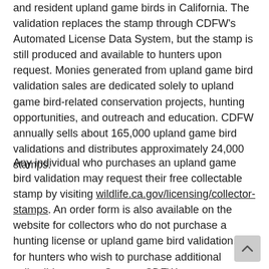and resident upland game birds in California. The validation replaces the stamp through CDFW's Automated License Data System, but the stamp is still produced and available to hunters upon request. Monies generated from upland game bird validation sales are dedicated solely to upland game bird-related conservation projects, hunting opportunities, and outreach and education. CDFW annually sells about 165,000 upland game bird validations and distributes approximately 24,000 stamps.
Any individual who purchases an upland game bird validation may request their free collectable stamp by visiting wildlife.ca.gov/licensing/collector-stamps. An order form is also available on the website for collectors who do not purchase a hunting license or upland game bird validation, or for hunters who wish to purchase additional collectible stamps. Source: CDFW